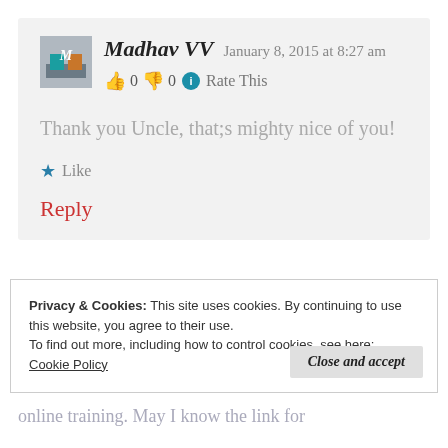Madhav VV  January 8, 2015 at 8:27 am
👍 0 👎 0 ℹ Rate This
Thank you Uncle, that;s mighty nice of you!
★ Like
Reply
Privacy & Cookies: This site uses cookies. By continuing to use this website, you agree to their use.
To find out more, including how to control cookies, see here:
Cookie Policy
Close and accept
online training. May I know the link for